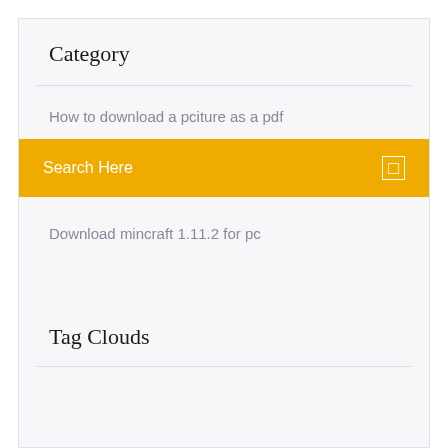Category
How to download a pciture as a pdf
Search Here
Download mincraft 1.11.2 for pc
Tag Clouds